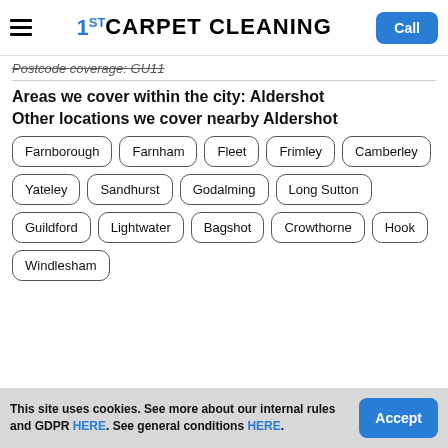1ST CARPET CLEANING | Call
Postcode coverage: GU11
Areas we cover within the city: Aldershot
Other locations we cover nearby Aldershot
Farnborough
Farnham
Fleet
Frimley
Camberley
Yateley
Sandhurst
Godalming
Long Sutton
Guildford
Lightwater
Bagshot
Crowthorne
Hook
Windlesham
This site uses cookies. See more about our internal rules and GDPR HERE. See general conditions HERE. Accept